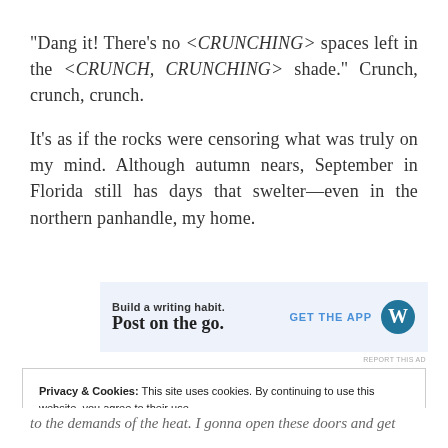"Dang it! There's no <CRUNCHING> spaces left in the <CRUNCH, CRUNCHING> shade." Crunch, crunch, crunch.
It's as if the rocks were censoring what was truly on my mind. Although autumn nears, September in Florida still has days that swelter—even in the northern panhandle, my home.
[Figure (screenshot): WordPress app advertisement banner with text 'Build a writing habit. Post on the go.' and 'GET THE APP' with WordPress logo]
REPORT THIS AD
Privacy & Cookies: This site uses cookies. By continuing to use this website, you agree to their use.
To find out more, including how to control cookies, see here: Cookie Policy
to the demands of the heat. I gonna open these doors and get